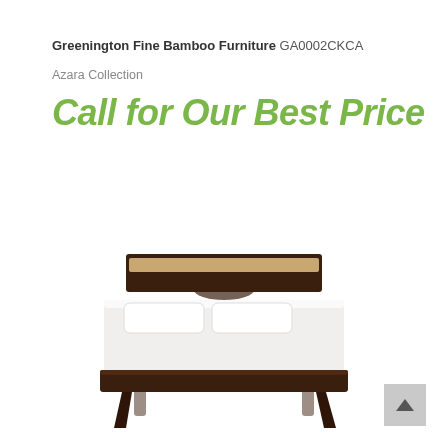Greenington Fine Bamboo Furniture GA0002CKCA
Azara Collection
Call for Our Best Price
[Figure (photo): A modern platform bed with dark bamboo wood frame and headboard, white mattress and pillows, on angled legs, photographed from a front-facing perspective against a white background.]
▲